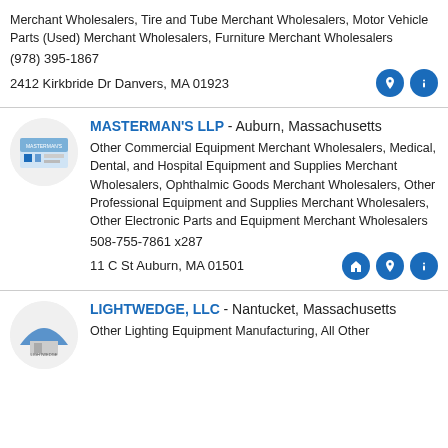Merchant Wholesalers, Tire and Tube Merchant Wholesalers, Motor Vehicle Parts (Used) Merchant Wholesalers, Furniture Merchant Wholesalers
(978) 395-1867
2412 Kirkbride Dr Danvers, MA 01923
MASTERMAN'S LLP - Auburn, Massachusetts
Other Commercial Equipment Merchant Wholesalers, Medical, Dental, and Hospital Equipment and Supplies Merchant Wholesalers, Ophthalmic Goods Merchant Wholesalers, Other Professional Equipment and Supplies Merchant Wholesalers, Other Electronic Parts and Equipment Merchant Wholesalers
508-755-7861 x287
11 C St Auburn, MA 01501
LIGHTWEDGE, LLC - Nantucket, Massachusetts
Other Lighting Equipment Manufacturing, All Other